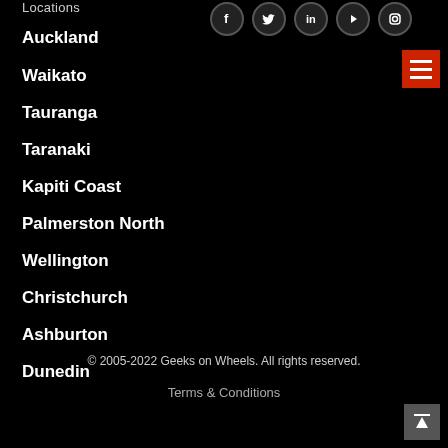Locations
[Figure (illustration): Social media icons: Facebook, Twitter, LinkedIn, YouTube, Instagram in circular outlines]
[Figure (illustration): Red hamburger menu button]
Auckland
Waikato
Tauranga
Taranaki
Kapiti Coast
Palmerston North
Wellington
Christchurch
Ashburton
Dunedin
© 2005-2022 Geeks on Wheels. All rights reserved.
Terms & Conditions